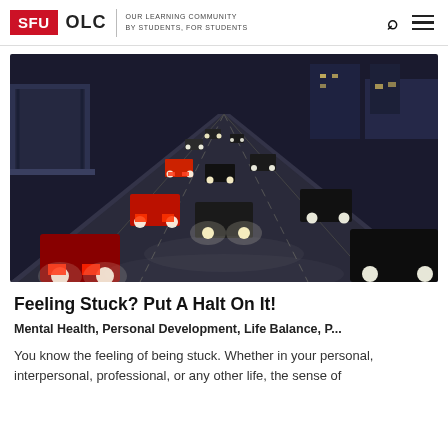SFU OLC | OUR LEARNING COMMUNITY BY STUDENTS, FOR STUDENTS
[Figure (photo): Nighttime heavy traffic on a multi-lane urban highway with cars and buses, headlights and taillights visible, elevated rail structure on the left, city buildings in the background.]
Feeling Stuck? Put A Halt On It!
Mental Health, Personal Development, Life Balance, P...
You know the feeling of being stuck. Whether in your personal, interpersonal, professional, or any other life, the sense of